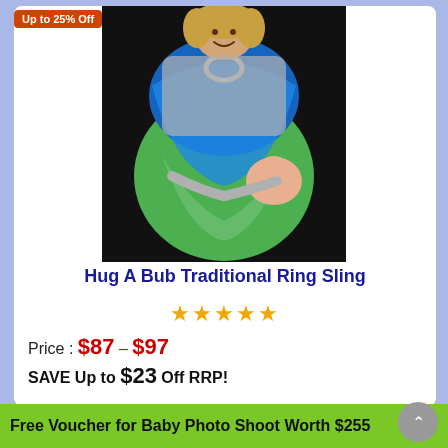[Figure (photo): Woman smiling and holding a baby in a blue and green Hug A Bub Traditional Ring Sling]
Hug A Bub Traditional Ring Sling
★★★★★
Price : $87 – $97
SAVE Up to $23 Off RRP!
Free Voucher for Baby Photo Shoot Worth $255